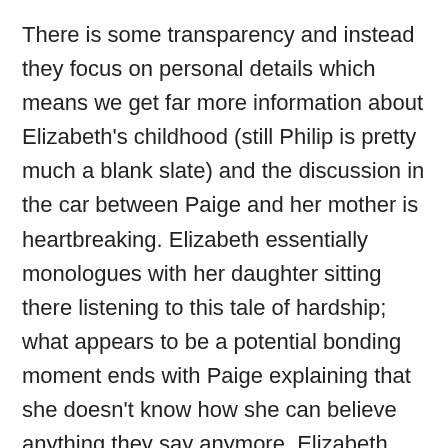There is some transparency and instead they focus on personal details which means we get far more information about Elizabeth's childhood (still Philip is pretty much a blank slate) and the discussion in the car between Paige and her mother is heartbreaking. Elizabeth essentially monologues with her daughter sitting there listening to this tale of hardship; what appears to be a potential bonding moment ends with Paige explaining that she doesn't know how she can believe anything they say anymore. Elizabeth does not have a sharing disposition, but as we see here and in the past when she is talking about her mother it taps into a reservoir of emotion. Paige starts the episode with a series of questions and she is quick to find out they are not willing to talk about this when Henry could come in at any moment. Luckily Henry is too busy practicing his